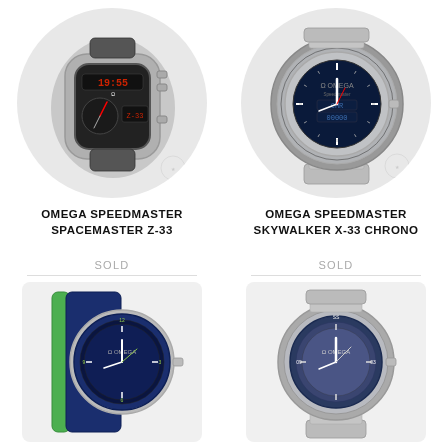[Figure (photo): Omega Speedmaster Spacemaster Z-33 watch with digital display and rubber strap, shown from front angle]
[Figure (photo): Omega Speedmaster Skywalker X-33 Chrono watch with blue dial and stainless steel bracelet, shown from front angle]
OMEGA SPEEDMASTER SPACEMASTER Z-33
OMEGA SPEEDMASTER SKYWALKER X-33 CHRONO
SOLD
SOLD
[Figure (photo): Omega Speedmaster watch with blue dial and blue/green NATO strap, shown from front angle]
[Figure (photo): Omega Speedmaster watch with grey/blue dial and stainless steel bracelet, shown from front angle]